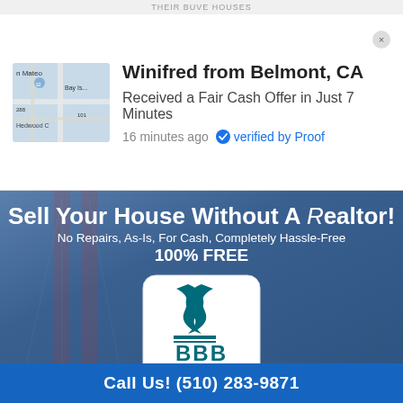THEIR BUVE HOUSES
Winifred from Belmont, CA
Received a Fair Cash Offer in Just 7 Minutes
16 minutes ago  verified by Proof
Sell Your House Without A Realtor!
No Repairs, As-Is, For Cash, Completely Hassle-Free
100% FREE
[Figure (logo): BBB Accredited Business badge/logo in white and teal]
We buy homes in Half Moon Bay CA in any condition. No realtors, no fees, no commissions, no repairs & no cleaning.
Call Us! (510) 283-9871